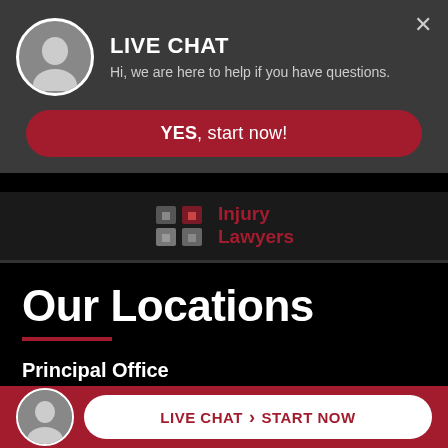[Figure (screenshot): Live chat popup with avatar of a man, title LIVE CHAT, subtitle text, and YES start now button]
LIVE CHAT
Hi, we are here to help if you have questions.
YES, start now!
[Figure (logo): Injury Lawyers logo with icon]
Our Locations
Principal Office
101 Eisenhower Parkway
Suite 200
Rosela...07...
[Figure (screenshot): Bottom bar with avatar, LIVE CHAT and START NOW button]